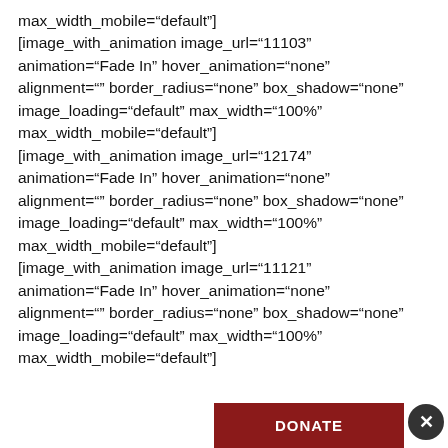max_width_mobile="default"] [image_with_animation image_url="11103" animation="Fade In" hover_animation="none" alignment="" border_radius="none" box_shadow="none" image_loading="default" max_width="100%" max_width_mobile="default"] [image_with_animation image_url="12174" animation="Fade In" hover_animation="none" alignment="" border_radius="none" box_shadow="none" image_loading="default" max_width="100%" max_width_mobile="default"] [image_with_animation image_url="11121" animation="Fade In" hover_animation="none" alignment="" border_radius="none" box_shadow="none" image_loading="default" max_width="100%" max_width_mobile="default"]
DONATE